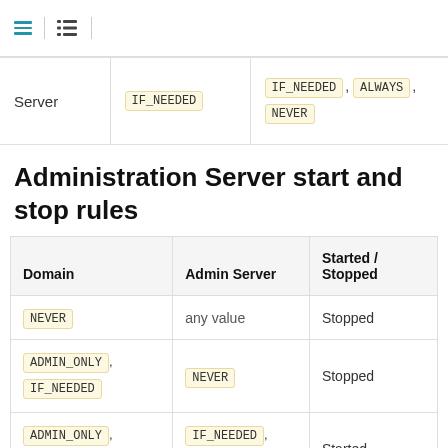|  |  |  |
| --- | --- | --- |
| Server | IF_NEEDED | IF_NEEDED, ALWAYS, NEVER |
Administration Server start and stop rules
| Domain | Admin Server | Started / Stopped |
| --- | --- | --- |
| NEVER | any value | Stopped |
| ADMIN_ONLY, IF_NEEDED | NEVER | Stopped |
| ADMIN_ONLY, IF_NEEDED | IF_NEEDED, ALWAYS | Started |